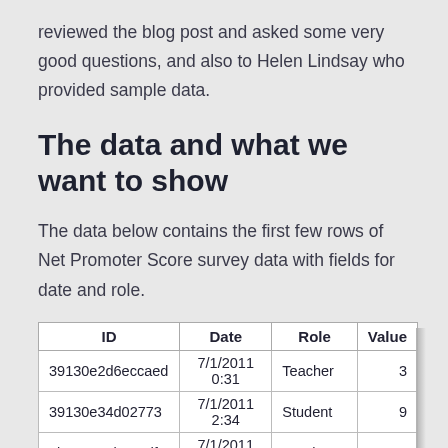reviewed the blog post and asked some very good questions, and also to Helen Lindsay who provided sample data.
The data and what we want to show
The data below contains the first few rows of Net Promoter Score survey data with fields for date and role.
| ID | Date | Role | Value |
| --- | --- | --- | --- |
| 39130e2d6eccaed | 7/1/2011 0:31 | Teacher | 3 |
| 39130e34d02773 | 7/1/2011 2:34 | Student | 9 |
| 3b130e38b412df1 | 7/1/2011 3:35 | Employee | 8 |
| 39130e44936c82f | 7/1/2011 7:03 | Doctor | 9 |
| 39130e476d14c8a | 7/1/2011 7:54 | Journalist | 9 |